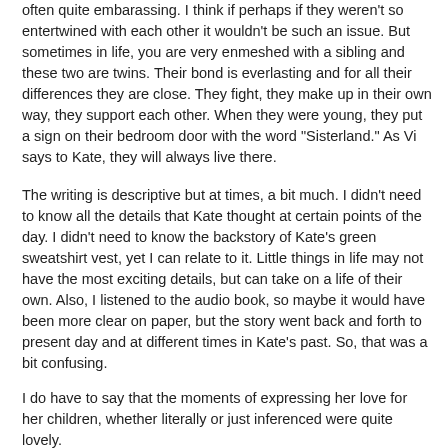often quite embarassing.  I think if perhaps if they weren't so entertwined with each other it wouldn't be such an issue.  But sometimes in life, you are very enmeshed with a sibling and these two are twins.  Their bond is everlasting and for all their differences they are close.  They fight, they make up in their own way, they support each other.  When they were young, they put a sign on their bedroom door with the word "Sisterland."  As Vi says to Kate, they will always live there.
The writing is descriptive but at times, a bit much.  I didn't need to know all the details that Kate thought at certain points of the day.  I didn't need to know the backstory of Kate's green sweatshirt vest, yet I can relate to it.  Little things in life may not have the most exciting details, but can take on a life of their own.  Also, I listened to the audio book, so maybe it would have been more clear on paper, but the story went back and forth to present day and at different times in Kate's past.  So, that was a bit confusing.
I do have to say that the moments of expressing her love for her children, whether literally or just inferenced were quite lovely.